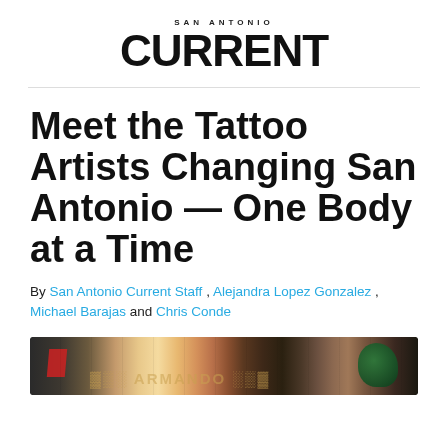SAN ANTONIO CURRENT
Meet the Tattoo Artists Changing San Antonio — One Body at a Time
By San Antonio Current Staff , Alejandra Lopez Gonzalez , Michael Barajas and Chris Conde
[Figure (photo): A wide cropped photograph showing colorful tattoo artwork on a person's arm/body, featuring reds, greens, and earth tones.]